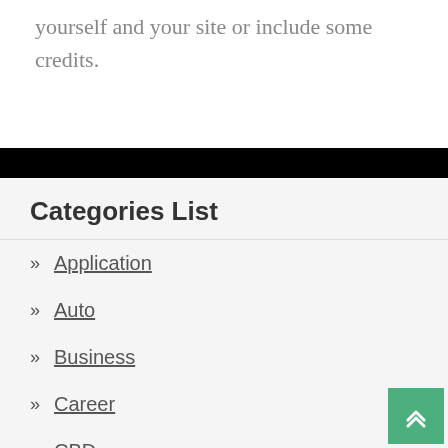yourself and your site or include some credits.
Categories List
Application
Auto
Business
Career
CBD